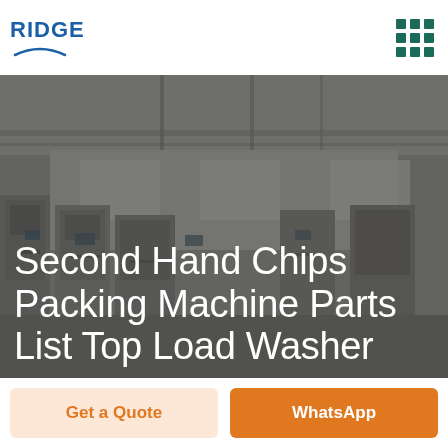RIDGE
Second Hand Chips Packing Machine Parts List Top Load Washer
[Figure (photo): Industrial factory/warehouse interior showing machinery and equipment with a dark overlay, serving as background for the page title.]
Get a Quote
WhatsApp